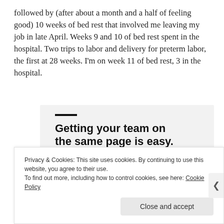followed by (after about a month and a half of feeling good) 10 weeks of bed rest that involved me leaving my job in late April. Weeks 9 and 10 of bed rest spent in the hospital. Two trips to labor and delivery for preterm labor, the first at 28 weeks. I'm on week 11 of bed rest, 3 in the hospital.
[Figure (screenshot): Advertisement box with dark bar accent, bold headline 'Getting your team on the same page is easy. And free.' and three circular profile photo avatars plus a blue circle with a plus sign.]
Privacy & Cookies: This site uses cookies. By continuing to use this website, you agree to their use.
To find out more, including how to control cookies, see here: Cookie Policy
Close and accept